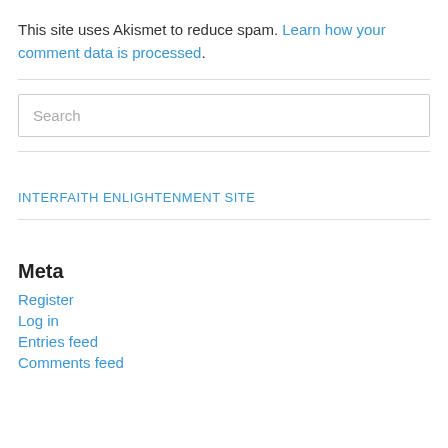This site uses Akismet to reduce spam. Learn how your comment data is processed.
Search
INTERFAITH ENLIGHTENMENT SITE
Meta
Register
Log in
Entries feed
Comments feed